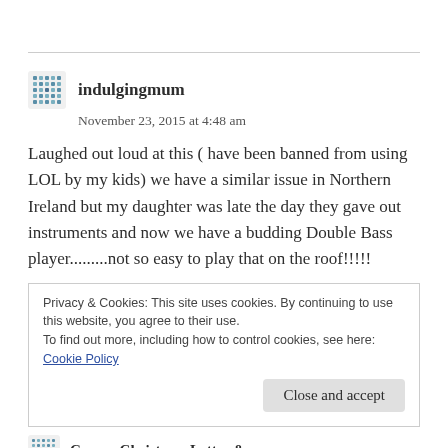indulgingmum
November 23, 2015 at 4:48 am
Laughed out loud at this ( have been banned from using LOL by my kids) we have a similar issue in Northern Ireland but my daughter was late the day they gave out instruments and now we have a budding Double Bass player.........not so easy to play that on the roof!!!!!
Privacy & Cookies: This site uses cookies. By continuing to use this website, you agree to their use.
To find out more, including how to control cookies, see here: Cookie Policy
Close and accept